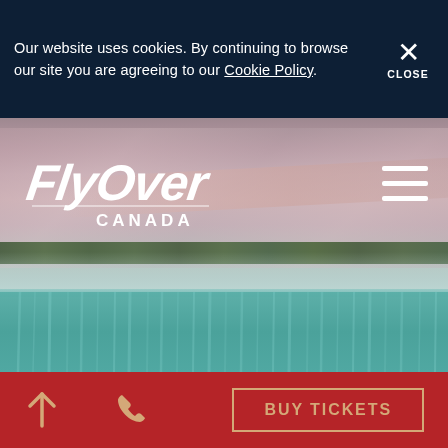Our website uses cookies. By continuing to browse our site you are agreeing to our Cookie Policy.
CLOSE
[Figure (photo): Aerial/landscape photo of Niagara Falls (Horseshoe Falls) at dusk with pink and purple sky, mist rising from the falls, turquoise-green water cascading over the horseshoe-shaped edge, and treeline visible on the horizon.]
[Figure (logo): FlyOver Canada logo in white — stylized italic script text reading 'FlyOver' with 'CANADA' in smaller block letters below.]
BUY TICKETS